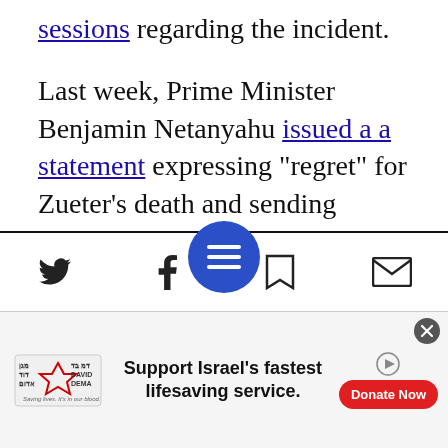sessions regarding the incident.
Last week, Prime Minister Benjamin Netanyahu issued a a statement expressing "regret" for Zueter's death and sending "sympathies to the people and government of Jordan."
Israel has also shared the results of its preliminary investigation with Jordan, and agreed to a Jordanian request to establish a joint investigation into Zueter's killing.
[Figure (screenshot): Mobile web toolbar with Twitter, Facebook, menu (blue circle), bookmark, and email share buttons]
[Figure (infographic): Advertisement banner for Magen David Adom: Support Israel's fastest lifesaving service, with Donate Now button]